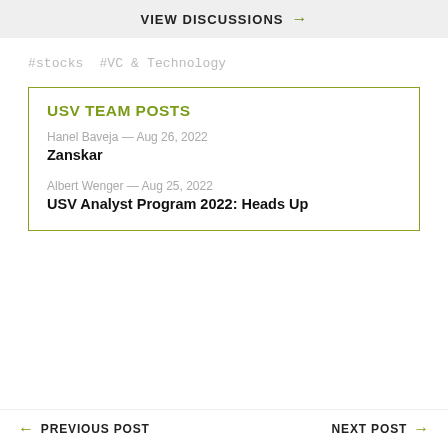VIEW DISCUSSIONS →
#stocks #VC & Technology
USV TEAM POSTS
Hanel Baveja — Aug 26, 2022
Zanskar
Albert Wenger — Aug 25, 2022
USV Analyst Program 2022: Heads Up
← PREVIOUS POST    NEXT POST →